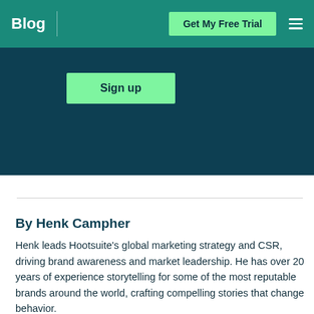Blog  Get My Free Trial
[Figure (screenshot): Teal banner with 'Sign up' green button on dark teal background]
By Henk Campher
Henk leads Hootsuite's global marketing strategy and CSR, driving brand awareness and market leadership. He has over 20 years of experience storytelling for some of the most reputable brands around the world, crafting compelling stories that change behavior.
Follow